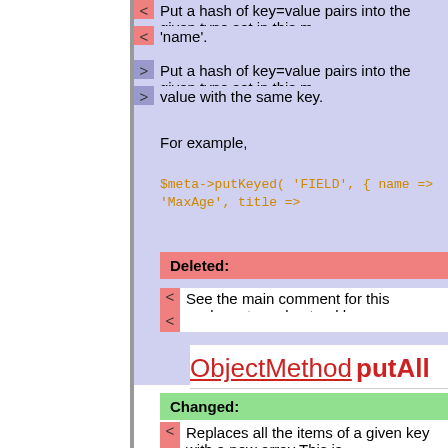< Put a hash of key=value pairs into the given type set in this m
< 'name'.
> Put a hash of key=value pairs into the given type set in this m
> value with the same key.
For example,
$meta->putKeyed( 'FIELD', { name => 'MaxAge', title =>
Deleted:
< See the main comment for this package to understand how m
<
ObjectMethod putAll
Changed:
< Replaces all the items of a given key with a new array This is
< method
> Replaces all the items of a given key with a new array.
>